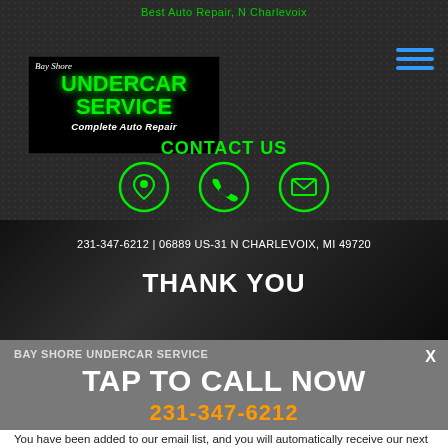Best Auto Repair, N Charlevoix
[Figure (logo): Bay Shore Undercar Service - Complete Auto Repair logo with green text on black background]
[Figure (other): Hamburger menu icon (three horizontal blue lines)]
CONTACT US
[Figure (infographic): Three green circle icons: location pin, phone handset, envelope/email]
231-347-6212 | 06889 US-31 N CHARLEVOIX, MI 49720
THANK YOU
BAY SHORE UNDERCAR SERVICE
TAP TO CALL NOW
231-347-6212
You have been added to our email list, and you will automatically receive our next mailing when it comes out.